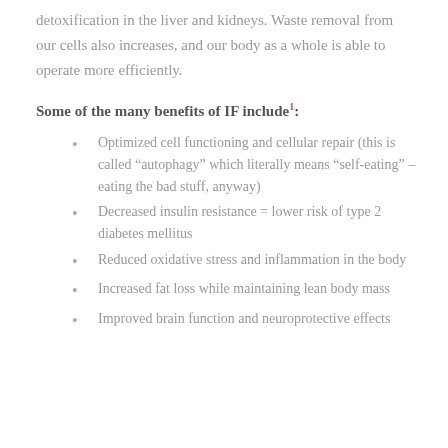detoxification in the liver and kidneys. Waste removal from our cells also increases, and our body as a whole is able to operate more efficiently.
Some of the many benefits of IF include¹:
Optimized cell functioning and cellular repair (this is called “autophagy” which literally means “self-eating” – eating the bad stuff, anyway)
Decreased insulin resistance = lower risk of type 2 diabetes mellitus
Reduced oxidative stress and inflammation in the body
Increased fat loss while maintaining lean body mass
Improved brain function and neuroprotective effects